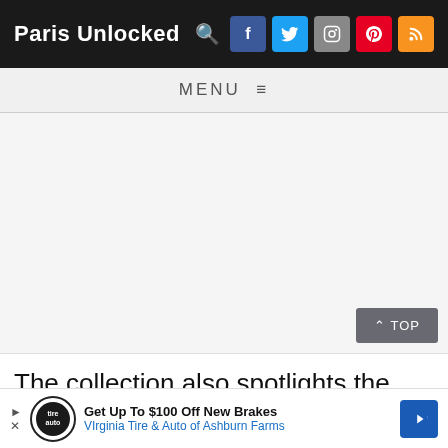Paris Unlocked
MENU
[Figure (photo): Blank/loading image placeholder area for an article about Berthe Morisot]
The collection also spotlights the work of Berthe Morisot, a remarkable Impressionist painter who has
[Figure (infographic): Advertisement banner: Get Up To $100 Off New Brakes - Virginia Tire & Auto of Ashburn Farms]